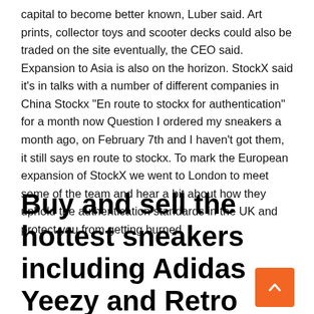capital to become better known, Luber said. Art prints, collector toys and scooter decks could also be traded on the site eventually, the CEO said. Expansion to Asia is also on the horizon. StockX said it's in talks with a number of different companies in China Stockx "En route to stockx for authentication" for a month now Question I ordered my sneakers a month ago, on February 7th and I haven't got them, it still says en route to stockx. To mark the European expansion of StockX we went to London to meet some of the team and hear a bit about how they uphold the authentication standards in the UK and protect you from getting burned
Buy and sell the hottest sneakers including Adidas Yeezy and Retro Jordans, Supreme streetwear, trading cards, collectibles,